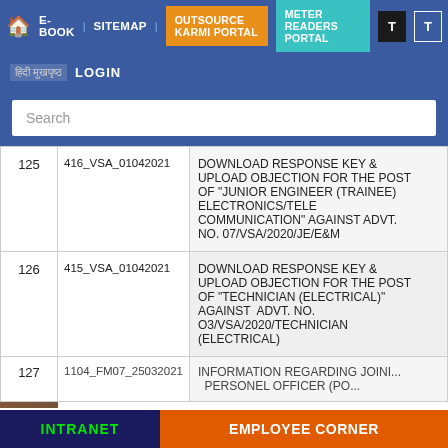Home | E-BOOK | SITEMAP | OUTSOURCE KARMI PORTAL | METER READERS PORTAL | T | T
Hindi Login | LOGIN
Search
| # | ID | Description |
| --- | --- | --- |
| 125 | 416_VSA_01042021 | DOWNLOAD RESPONSE KEY & UPLOAD OBJECTION FOR THE POST OF "JUNIOR ENGINEER (TRAINEE) ELECTRONICS/TELE COMMUNICATION" AGAINST ADVT. NO. 07/VSA/2020/JE/E&M |
| 126 | 415_VSA_01042021 | DOWNLOAD RESPONSE KEY & UPLOAD OBJECTION FOR THE POST OF "TECHNICIAN (ELECTRICAL)" AGAINST  ADVT. NO. O3/VSA/2020/TECHNICIAN (ELECTRICAL) |
| 127 | 1104_FM07_25032021 | INFORMATION REGARDING JOINING OF PERSONEL OFFICER (PO... |
INTRANET | EMPLOYEE CORNER